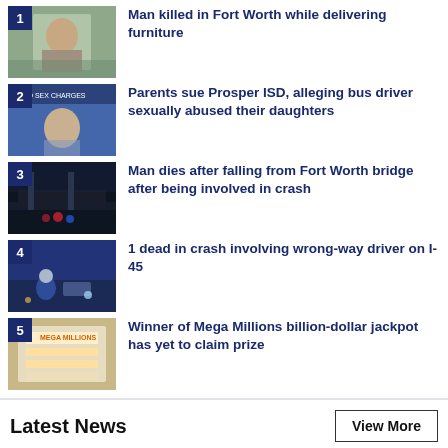1 Man killed in Fort Worth while delivering furniture
2 Parents sue Prosper ISD, alleging bus driver sexually abused their daughters
3 Man dies after falling from Fort Worth bridge after being involved in crash
4 1 dead in crash involving wrong-way driver on I-45
5 Winner of Mega Millions billion-dollar jackpot has yet to claim prize
Latest News
View More